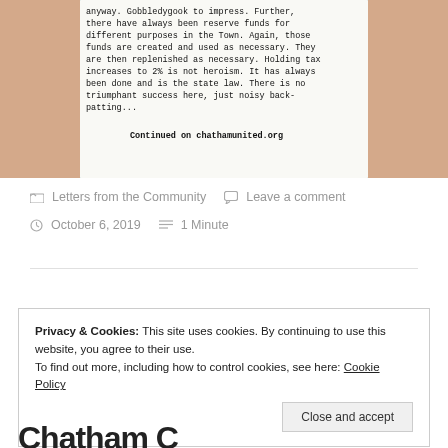[Figure (photo): Hands holding a paper/card with printed text about town finances. The card reads: 'anyway. Gobbledygook to impress. Further, there have always been reserve funds for different purposes in the Town. Again, those funds are created and used as necessary. They are then replenished as necessary. Holding tax increases to 2% is not heroism. It has always been done and is the state law. There is no triumphant success here, just noisy back-patting...' and 'Continued on chathamunited.org']
Letters from the Community   Leave a comment
October 6, 2019   1 Minute
Privacy & Cookies: This site uses cookies. By continuing to use this website, you agree to their use.
To find out more, including how to control cookies, see here: Cookie Policy
Close and accept
Chatham C